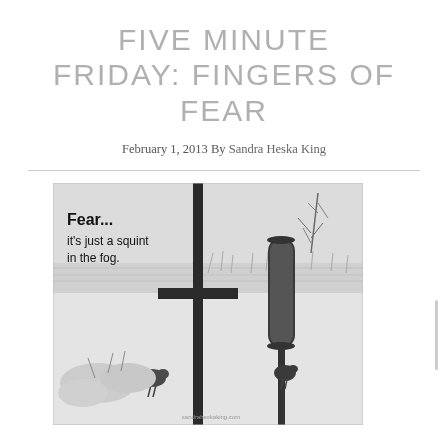FIVE MINUTE FRIDAY: FINGERS OF FEAR
February 1, 2013 By Sandra Heska King
[Figure (photo): Black and white photograph of a winter scene with snow, bare trees, a bird feeder on a pole, and birds. Overlaid text reads: 'Fear... it's just a squint in the fog.' A dark cross/pole shape is visible in the foreground. Website watermark: sandraheskaking.com]